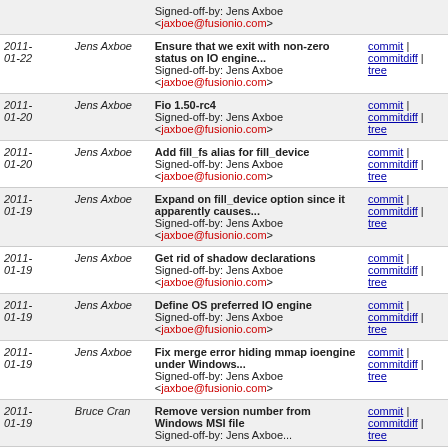| Date | Author | Commit | Links |
| --- | --- | --- | --- |
|  |  | Signed-off-by: Jens Axboe <jaxboe@fusionio.com> |  |
| 2011-01-22 | Jens Axboe | Ensure that we exit with non-zero status on IO engine...
Signed-off-by: Jens Axboe <jaxboe@fusionio.com> | commit | commitdiff | tree |
| 2011-01-20 | Jens Axboe | Fio 1.50-rc4
Signed-off-by: Jens Axboe <jaxboe@fusionio.com> | commit | commitdiff | tree |
| 2011-01-20 | Jens Axboe | Add fill_fs alias for fill_device
Signed-off-by: Jens Axboe <jaxboe@fusionio.com> | commit | commitdiff | tree |
| 2011-01-19 | Jens Axboe | Expand on fill_device option since it apparently causes...
Signed-off-by: Jens Axboe <jaxboe@fusionio.com> | commit | commitdiff | tree |
| 2011-01-19 | Jens Axboe | Get rid of shadow declarations
Signed-off-by: Jens Axboe <jaxboe@fusionio.com> | commit | commitdiff | tree |
| 2011-01-19 | Jens Axboe | Define OS preferred IO engine
Signed-off-by: Jens Axboe <jaxboe@fusionio.com> | commit | commitdiff | tree |
| 2011-01-19 | Jens Axboe | Fix merge error hiding mmap ioengine under Windows...
Signed-off-by: Jens Axboe <jaxboe@fusionio.com> | commit | commitdiff | tree |
| 2011-01-19 | Bruce Cran | Remove version number from Windows MSI file
Signed-off-by: ... | commit | commitdiff | tree |